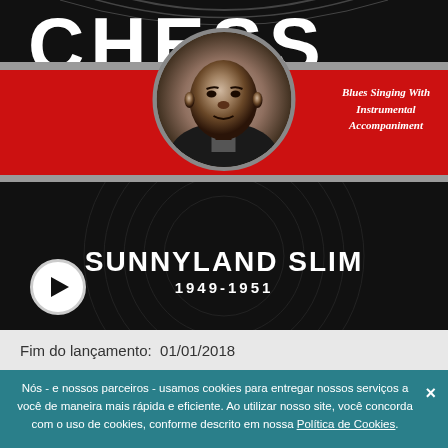[Figure (illustration): Album cover for Sunnyland Slim 1949-1951. Black vinyl record with red label bands. Shows circular black-and-white portrait photo of Sunnyland Slim. Text 'Blues Singing With Instrumental Accompaniment' in top right of red band. Artist name 'SUNNYLAND SLIM' and years '1949-1951' on black record area. Play button (circle with triangle) in bottom left corner. Top section shows partial 'Chess' or similar label text in white on black background.]
Fim do lançamento:  01/01/2018
Nós - e nossos parceiros - usamos cookies para entregar nossos serviços a você de maneira mais rápida e eficiente. Ao utilizar nosso site, você concorda com o uso de cookies, conforme descrito em nossa Política de Cookies.